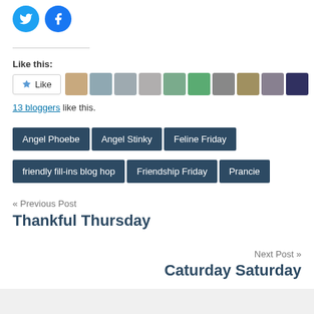[Figure (illustration): Twitter bird icon (blue circle) and Facebook 'f' icon (blue circle) social sharing buttons]
Like this:
[Figure (illustration): Like button with star icon followed by a strip of 9 blogger avatar thumbnails]
13 bloggers like this.
Angel Phoebe
Angel Stinky
Feline Friday
friendly fill-ins blog hop
Friendship Friday
Prancie
« Previous Post
Thankful Thursday
Next Post »
Caturday Saturday